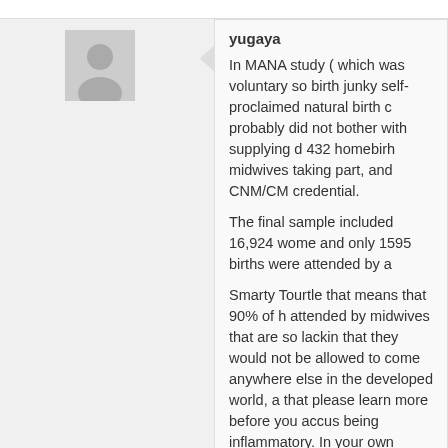[Figure (illustration): User avatar placeholder image for yugaya]
yugaya
In MANA study ( which was voluntary so birth junky self-proclaimed natural birth probably did not bother with supplying d 432 homebirh midwives taking part, and CNM/CM credential.

The final sample included 16,924 wome and only 1595 births were attended by a

Smarty Tourtle that means that 90% of h attended by midwives that are so lackin that they would not be allowed to come anywhere else in the developed world, a that please learn more before you accus being inflammatory. In your own words,
[Figure (illustration): User avatar placeholder image for Samantha06]
Samantha06
If you had actually read my post, you wo